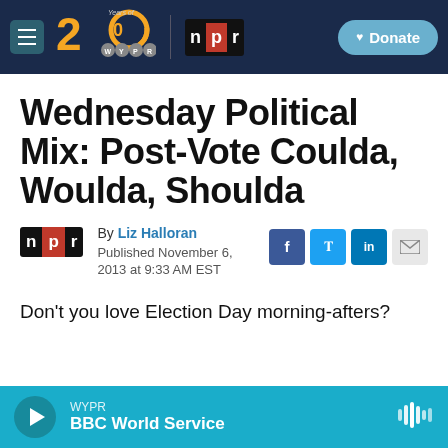WYPR 20 Years of WYPR | npr | Donate
Wednesday Political Mix: Post-Vote Coulda, Woulda, Shoulda
By Liz Halloran
Published November 6, 2013 at 9:33 AM EST
Don't you love Election Day morning-afters?
WYPR BBC World Service